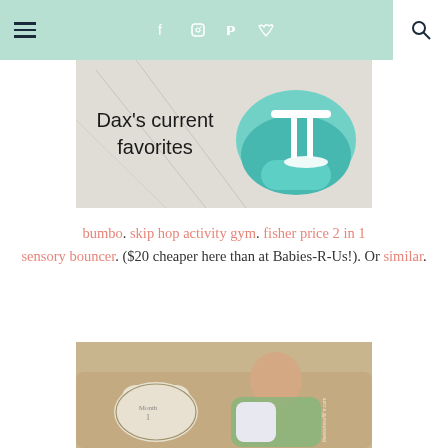Navigation bar with hamburger menu, social icons (facebook, instagram, pinterest, twitter), and search
[Figure (photo): Banner image with text 'Dax's current favorites' and a bumbo seat / activity product in teal and white on right side]
bumbo. skip hop activity gym. fisher price 2 in 1 sensory bouncer. ($20 cheaper here than at Babies-R-Us!). Or similar.
[Figure (photo): Baby boy sitting on a beige couch next to a bear-shaped pillow that reads 'Month 1', wearing a colorful outfit with neon green and blue]